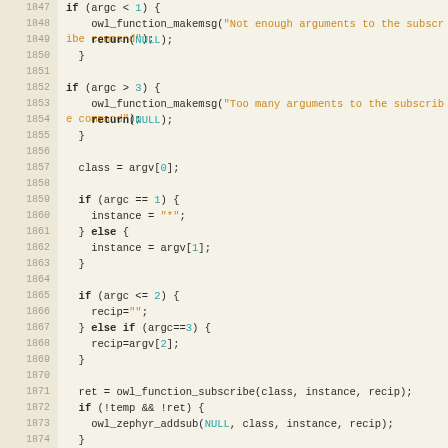[Figure (screenshot): Source code screenshot showing C code lines 1847-1877 with syntax highlighting. Features if/else conditionals, function calls like owl_function_makemsg, owl_function_subscribe, owl_zephyr_addsub, variable assignments for class, instance, recip, and a return statement.]